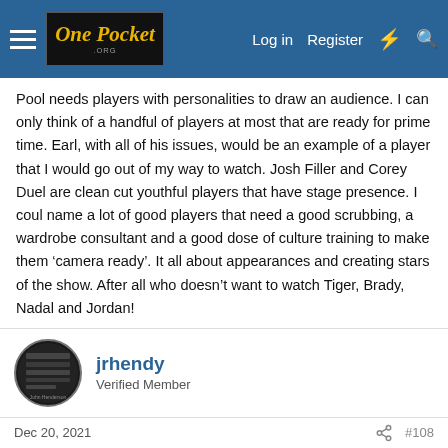One Pocket Org | Log in | Register
Pool needs players with personalities to draw an audience. I can only think of a handful of players at most that are ready for prime time. Earl, with all of his issues, would be an example of a player that I would go out of my way to watch. Josh Filler and Corey Duel are clean cut youthful players that have stage presence. I coul name a lot of good players that need a good scrubbing, a wardrobe consultant and a good dose of culture training to make them ‘camera ready’. It all about appearances and creating stars of the show. After all who doesn’t want to watch Tiger, Brady, Nadal and Jordan!
jrhendy
Verified Member
Dec 20, 2021
#108
I agree about the personalities, but we also need personality in the streaming booth. Billy I. only fills in occasionally, and JJ is busy as we all know with the Mosconi Cup. There are other